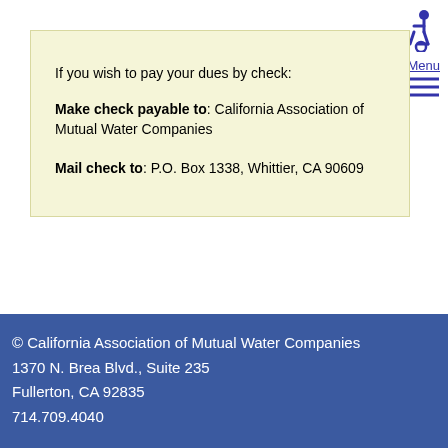[Figure (illustration): Blue wheelchair accessibility icon in top-right corner]
Menu (hamburger menu icon with three lines)
If you wish to pay your dues by check:

Make check payable to: California Association of Mutual Water Companies

Mail check to: P.O. Box 1338, Whittier, CA 90609
© California Association of Mutual Water Companies
1370 N. Brea Blvd., Suite 235
Fullerton, CA 92835
714.709.4040